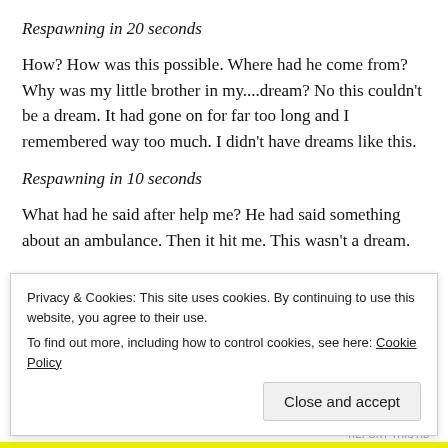Respawning in 20 seconds
How? How was this possible. Where had he come from? Why was my little brother in my....dream? No this couldn't be a dream. It had gone on for far too long and I remembered way too much. I didn't have dreams like this.
Respawning in 10 seconds
What had he said after help me? He had said something about an ambulance. Then it hit me. This wasn't a dream.
R...
Privacy & Cookies: This site uses cookies. By continuing to use this website, you agree to their use. To find out more, including how to control cookies, see here: Cookie Policy
Close and accept